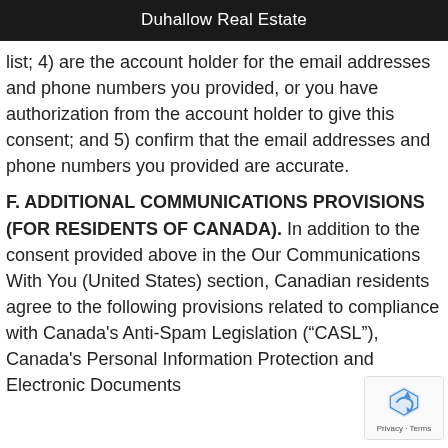Duhallow Real Estate
list; 4) are the account holder for the email addresses and phone numbers you provided, or you have authorization from the account holder to give this consent; and 5) confirm that the email addresses and phone numbers you provided are accurate.
F. ADDITIONAL COMMUNICATIONS PROVISIONS (FOR RESIDENTS OF CANADA).
In addition to the consent provided above in the Our Communications With You (United States) section, Canadian residents agree to the following provisions related to compliance with Canada's Anti-Spam Legislation (“CASL”), Canada's Personal Information Protection and Electronic Documents